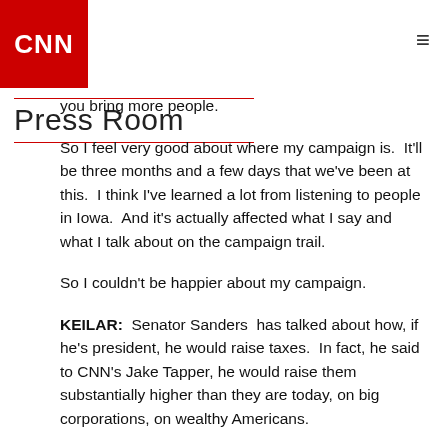CNN Press Room
you bring more people.
So I feel very good about where my campaign is.  It'll be three months and a few days that we've been at this.  I think I've learned a lot from listening to people in Iowa.  And it's actually affected what I say and what I talk about on the campaign trail.
So I couldn't be happier about my campaign.
KEILAR:  Senator Sanders  has talked about how, if he's president, he would raise taxes.  In fact, he said to CNN's Jake Tapper, he would raise them substantially higher than they are today, on big corporations, on wealthy Americans.
Would you?
CLINTON:  I will be laying out my own economic policies.  Again, everybody has to run his or her own campaign.  And